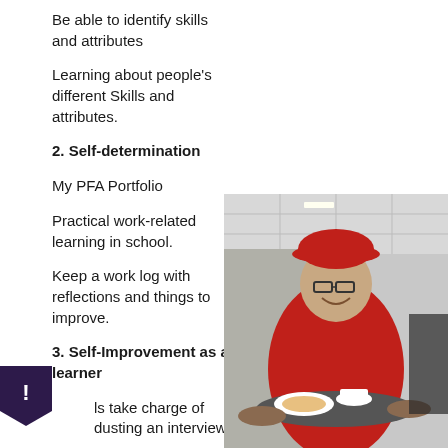Be able to identify skills and attributes
Learning about people's different Skills and attributes.
2. Self-determination
My PFA Portfolio
Practical work-related learning in school.
Keep a work log with reflections and things to improve.
3. Self-Improvement as a learner
ls take charge of dusting an interview
[Figure (photo): A young person wearing a red cap and red uniform shirt, smiling, holding a tray with food and drinks in what appears to be a cafeteria or fast food restaurant setting.]